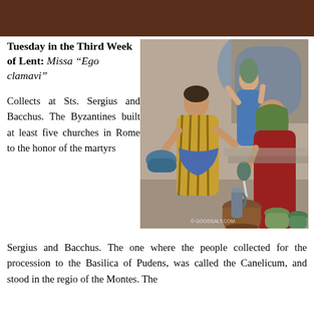Tuesday in the Third Week of Lent: Missa “Ego clamavi”
[Figure (illustration): Religious illustration showing biblical figures carrying and pouring water from large clay jars/pitchers, in a stone archway setting. Watermark: © GOODSALT.COM]
Collects at Sts. Sergius and Bacchus. The Byzantines built at least five churches in Rome to the honor of the martyrs Sergius and Bacchus. The one where the people collected for the procession to the Basilica of Pudens, was called the Canelicum, and stood in the regio of the Montes. The